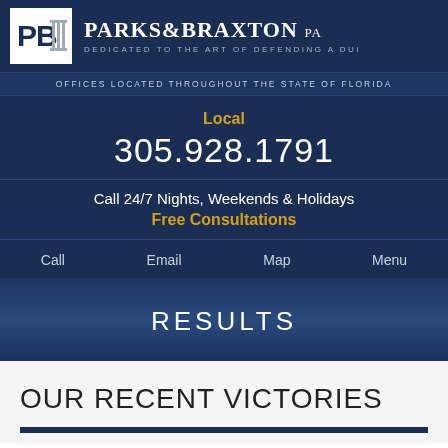[Figure (logo): Parks & Braxton PA law firm logo with stylized PB letters and column graphic in a white box, beside firm name and tagline on dark blue background]
OFFICES LOCATED THROUGHOUT THE STATE OF FLORIDA
Local
305.928.1791
Call 24/7 Nights, Weekends & Holidays
Free Consultations
Call   Email   Map   Menu
RESULTS
OUR RECENT VICTORIES